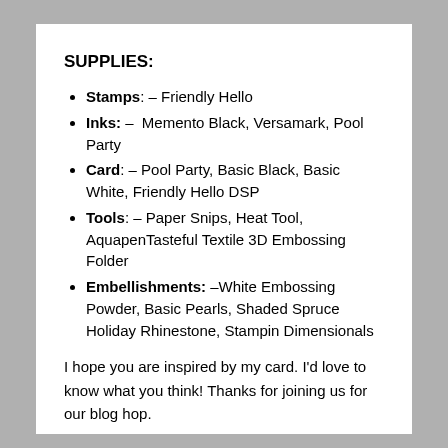SUPPLIES:
Stamps: – Friendly Hello
Inks: –  Memento Black, Versamark, Pool Party
Card: – Pool Party, Basic Black, Basic White, Friendly Hello DSP
Tools: – Paper Snips, Heat Tool, AquapenTasteful Textile 3D Embossing Folder
Embellishments: –White Embossing Powder, Basic Pearls, Shaded Spruce Holiday Rhinestone, Stampin Dimensionals
I hope you are inspired by my card. I'd love to know what you think! Thanks for joining us for our blog hop.